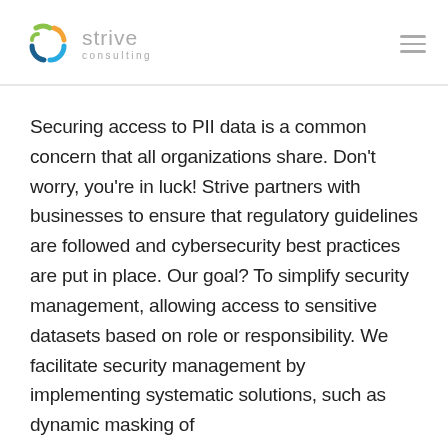[Figure (logo): Strive Consulting logo with colorful swirl icon and grey text]
Securing access to PII data is a common concern that all organizations share. Don't worry, you're in luck! Strive partners with businesses to ensure that regulatory guidelines are followed and cybersecurity best practices are put in place. Our goal? To simplify security management, allowing access to sensitive datasets based on role or responsibility. We facilitate security management by implementing systematic solutions, such as dynamic masking of